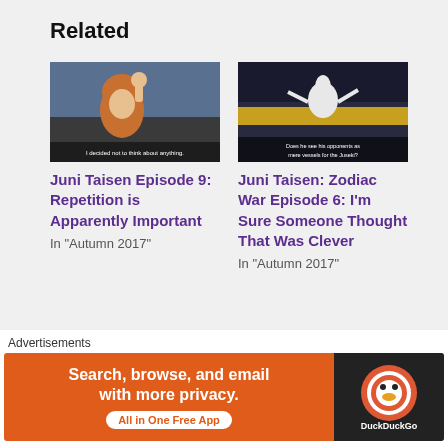Related
[Figure (screenshot): Anime screenshot from Juni Taisen Episode 9 - orange haired girl with hand raised, subtitle: 'I decided not to think about anything.']
Juni Taisen Episode 9: Repetition is Apparently Important
In "Autumn 2017"
[Figure (screenshot): Anime screenshot from Juni Taisen Zodiac War Episode 6 - dark scene with white rabbit character fighting, subtitle: 'Does he see his opponents as mere vessels for the Juseki?']
Juni Taisen: Zodiac War Episode 6: I'm Sure Someone Thought That Was Clever
In "Autumn 2017"
[Figure (screenshot): Partial anime screenshot - blue toned scene, partially visible]
Advertisements
[Figure (other): DuckDuckGo advertisement banner: 'Search, browse, and email with more privacy. All in One Free App' with DuckDuckGo logo on dark background]